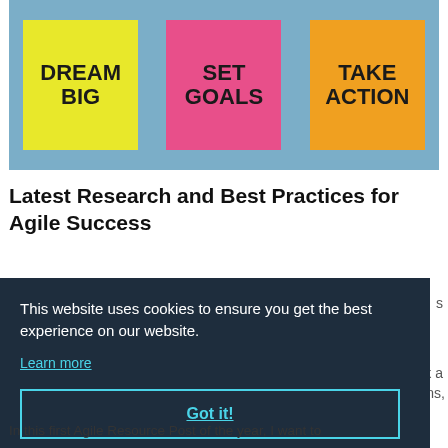[Figure (photo): Motivational sticky notes on a wooden background: yellow note says 'DREAM BIG', pink note says 'SET GOALS', orange note says 'TAKE ACTION']
Latest Research and Best Practices for Agile Success
This website uses cookies to ensure you get the best experience on our website.
Learn more
Got it!
In this first Agile Resource Post of the year, I want to